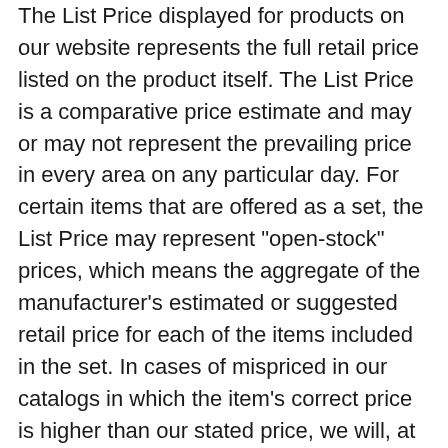The List Price displayed for products on our website represents the full retail price listed on the product itself. The List Price is a comparative price estimate and may or may not represent the prevailing price in every area on any particular day. For certain items that are offered as a set, the List Price may represent "open-stock" prices, which means the aggregate of the manufacturer's estimated or suggested retail price for each of the items included in the set. In cases of mispriced in our catalogs in which the item's correct price is higher than our stated price, we will, at our discretion, either contact you for instructions before shipping or cancel your order and notify you of such cancellation.
We do not warrant that product descriptions or other content of this site is accurate, complete, reliable, current, or error-free. If a product offered in our website is not as described, your sole remedy is to return it in unused condition.